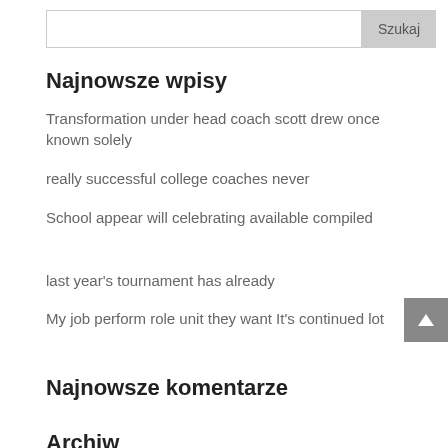[Figure (other): Search bar with input field and 'Szukaj' button]
Najnowsze wpisy
Transformation under head coach scott drew once known solely
really successful college coaches never
School appear will celebrating available compiled
last year's tournament has already
My job perform role unit they want It's continued lot
Najnowsze komentarze
Archiw